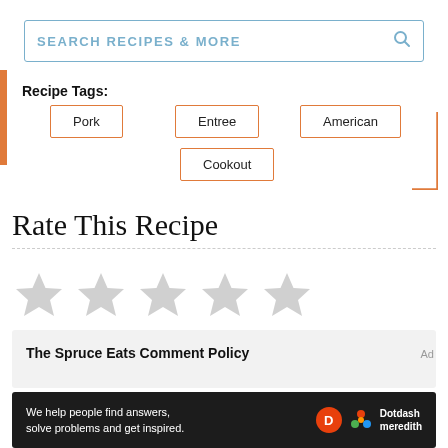SEARCH RECIPES & MORE
Recipe Tags:
Pork
Entree
American
Cookout
Rate This Recipe
[Figure (other): Five empty star rating widgets in light grey]
The Spruce Eats Comment Policy
We help people find answers, solve problems and get inspired.
[Figure (logo): Dotdash Meredith logo with D circle and colorful flower icon]